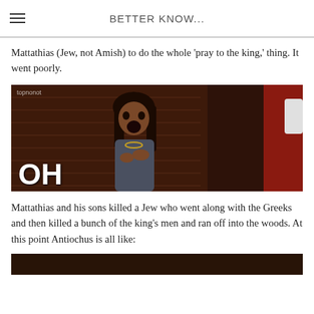BETTER KNOW...
Mattathias (Jew, not Amish) to do the whole 'pray to the king,' thing. It went poorly.
[Figure (photo): A woman with her mouth open in shock or surprise, in a TV/movie still. Large white text 'OH' appears at the bottom left. A watermark reads 'topnonot' in the top left corner.]
Mattathias and his sons killed a Jew who went along with the Greeks and then killed a bunch of the king's men and ran off into the woods. At this point Antiochus is all like:
[Figure (photo): Partial view of another image/GIF at the bottom of the page, cropped off.]